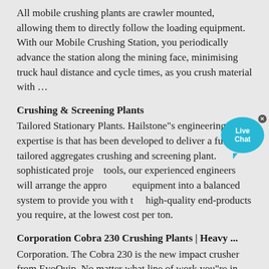All mobile crushing plants are crawler mounted, allowing them to directly follow the loading equipment. With our Mobile Crushing Station, you periodically advance the station along the mining face, minimising truck haul distance and cycle times, as you crush material with …
Crushing & Screening Plants
Tailored Stationary Plants. Hailstone"s engineering expertise is that has been developed to deliver a fully tailored aggregates crushing and screening plant. sophisticated project tools, our experienced engineers will arrange the appropriate equipment into a balanced system to provide you with the high-quality end-products you require, at the lowest cost per ton.
Corporation Cobra 230 Crushing Plants | Heavy ...
Corporation. The Cobra 230 is the new impact crusher from EvoQuip. No matter what line of work you"re in, whether it is Construction & Demolition, Asphalt Recycling, Quarrying or Contract Crushing the Cobra 230 will enhance your profitability. The …
Contact Us
Contact Us. Hailstone understands the challenges of this domain and moves parallel with unique and ever-emerging demands of customers. Reach out to us so that we can better serve you. MINING, AGGREGATES. Please fill in the sales